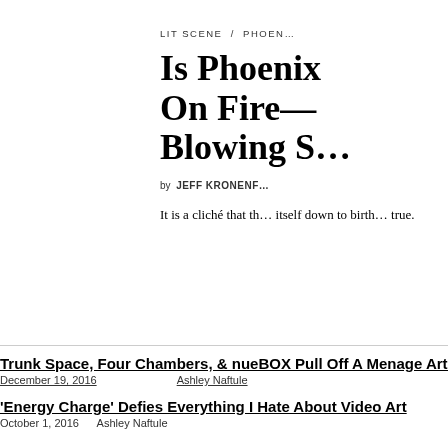LIT SCENE / PHOEN…
Is Phoenix On Fire— Blowing S…
by JEFF KRONENF…
It is a cliché that th… itself down to birth… true.
Trunk Space, Four Chambers, & nueBOX Pull Off A Menage Art Tr…
December 19, 2016    Ashley Naftule
'Energy Charge' Defies Everything I Hate About Video Art
October 1, 2016    Ashley Naftule